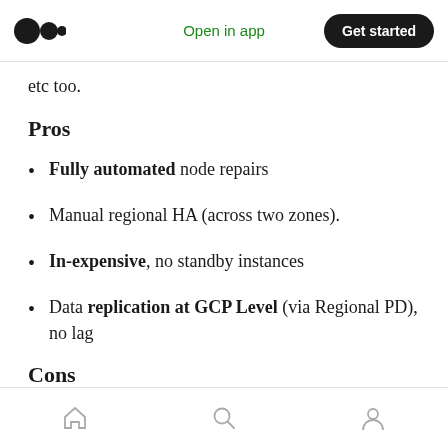Open in app | Get started
etc too.
Pros
Fully automated node repairs
Manual regional HA (across two zones).
In-expensive, no standby instances
Data replication at GCP Level (via Regional PD), no lag
Cons
Home | Search | Profile